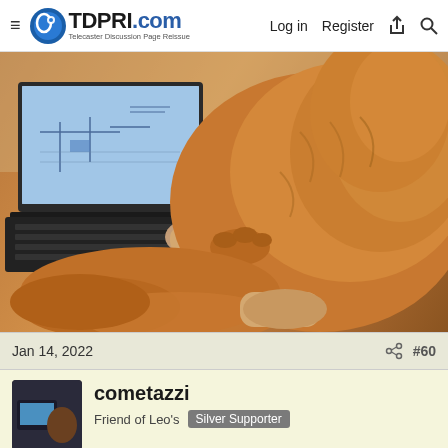TDPRI.com Telecaster Discussion Page Reissue | Log in | Register
[Figure (photo): A golden retriever dog resting on a person's lap while the person tries to use a laptop computer. The dog has placed its paw on the laptop keyboard. The laptop screen shows what appears to be a schematic or diagram.]
Jan 14, 2022   #60
cometazzi
Friend of Leo's  Silver Supporter